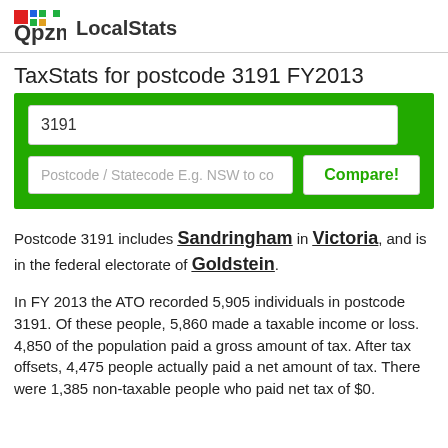Qpzm LocalStats
TaxStats for postcode 3191 FY2013
3191
Postcode / Statecode E.g. NSW to co
Compare!
Postcode 3191 includes Sandringham in Victoria, and is in the federal electorate of Goldstein.
In FY 2013 the ATO recorded 5,905 individuals in postcode 3191. Of these people, 5,860 made a taxable income or loss. 4,850 of the population paid a gross amount of tax. After tax offsets, 4,475 people actually paid a net amount of tax. There were 1,385 non-taxable people who paid net tax of $0.